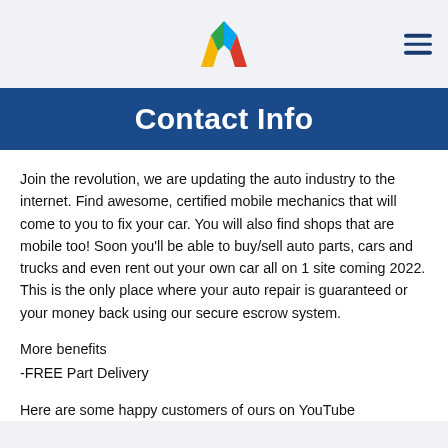[Figure (logo): Colorful M logo with green, blue, yellow, red segments]
Contact Info
Join the revolution, we are updating the auto industry to the internet. Find awesome, certified mobile mechanics that will come to you to fix your car. You will also find shops that are mobile too! Soon you'll be able to buy/sell auto parts, cars and trucks and even rent out your own car all on 1 site coming 2022. This is the only place where your auto repair is guaranteed or your money back using our secure escrow system.
More benefits
-FREE Part Delivery
Here are some happy customers of ours on YouTube